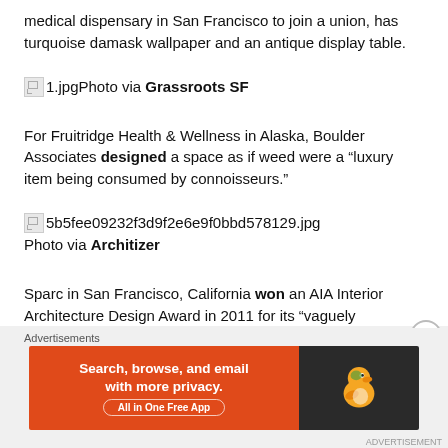medical dispensary in San Francisco to join a union, has turquoise damask wallpaper and an antique display table.
Photo via Grassroots SF
For Fruitridge Health & Wellness in Alaska, Boulder Associates designed a space as if weed were a “luxury item being consumed by connoisseurs.”
5b5fee09232f3d9f2e6e9f0bbd578129.jpg
Photo via Architizer
Sparc in San Francisco, California won an AIA Interior Architecture Design Award in 2011 for its “vaguely
[Figure (infographic): DuckDuckGo advertisement banner: orange left section with text 'Search, browse, and email with more privacy. All in One Free App', dark right section with DuckDuckGo duck logo.]